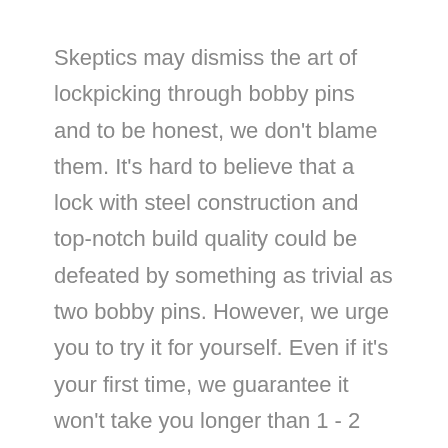Skeptics may dismiss the art of lockpicking through bobby pins and to be honest, we don't blame them. It's hard to believe that a lock with steel construction and top-notch build quality could be defeated by something as trivial as two bobby pins. However, we urge you to try it for yourself. Even if it's your first time, we guarantee it won't take you longer than 1 - 2 minutes for you to crack open a simple pin-and-tumbler lock.